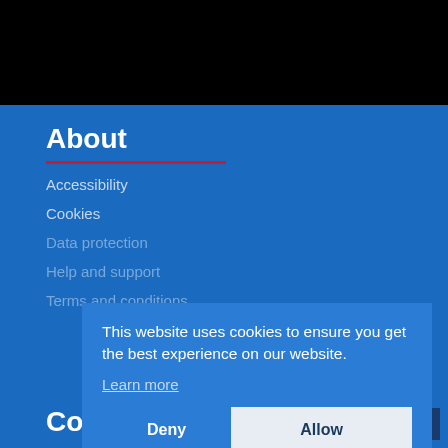[Figure (screenshot): Black navigation bar at the top of the page]
About
Accessibility
Cookies
Data protection
Help and support
Terms and conditions
This website uses cookies to ensure you get the best experience on our website. Learn more
Contact